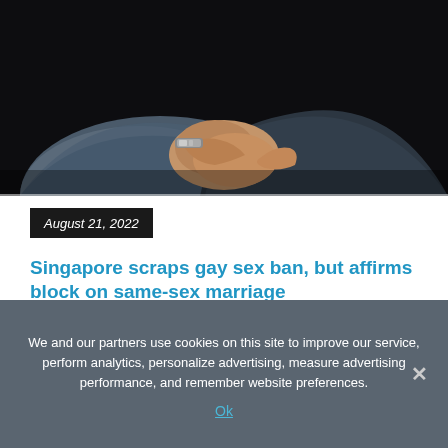[Figure (photo): Two men holding/gripping hands or wrists, one wearing a silver bracelet/watch, in a dark setting. Close-up of arms and hands.]
August 21, 2022
Singapore scraps gay sex ban, but affirms block on same-sex marriage
Kuala Lumpur: Singapore has announced it will decriminalise sex between men by repealing a colonial-era law while protecting the city-state's...
We and our partners use cookies on this site to improve our service, perform analytics, personalize advertising, measure advertising performance, and remember website preferences.
Ok